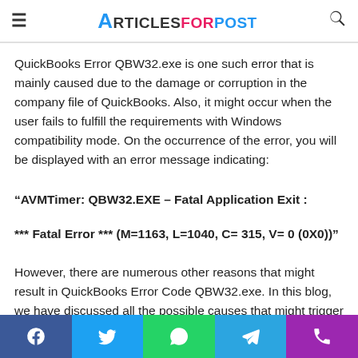ArticlesForPost
QuickBooks Error QBW32.exe is one such error that is mainly caused due to the damage or corruption in the company file of QuickBooks. Also, it might occur when the user fails to fulfill the requirements with Windows compatibility mode. On the occurrence of the error, you will be displayed with an error message indicating:
“AVMTimer: QBW32.EXE – Fatal Application Exit :
*** Fatal Error *** (M=1163, L=1040, C= 315, V= 0 (0X0))”
However, there are numerous other reasons that might result in QuickBooks Error Code QBW32.exe. In this blog, we have discussed all the possible causes that might trigger the error